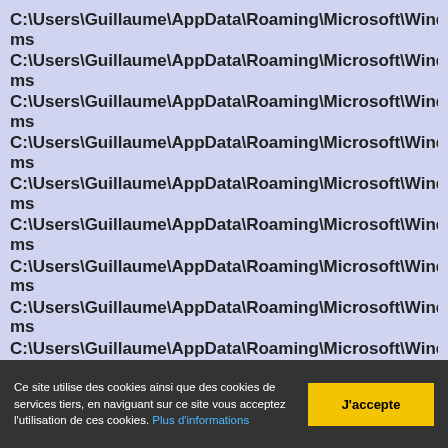C:\Users\Guillaume\AppData\Roaming\Microsoft\Windows\Recent\A
ms
C:\Users\Guillaume\AppData\Roaming\Microsoft\Windows\Recent\A
ms
C:\Users\Guillaume\AppData\Roaming\Microsoft\Windows\Recent\A
ms
C:\Users\Guillaume\AppData\Roaming\Microsoft\Windows\Recent\A
ms
C:\Users\Guillaume\AppData\Roaming\Microsoft\Windows\Recent\A
ms
C:\Users\Guillaume\AppData\Roaming\Microsoft\Windows\Recent\A
ms
C:\Users\Guillaume\AppData\Roaming\Microsoft\Windows\Recent\A
ms
C:\Users\Guillaume\AppData\Roaming\Microsoft\Windows\Recent\A
ms
C:\Users\Guillaume\AppData\Roaming\Microsoft\Windows\Recent\A
Ce site utilise des cookies ainsi que des cookies de services tiers, en naviguant sur ce site vous acceptez l'utilisation de ces cookies. Plus d'informations